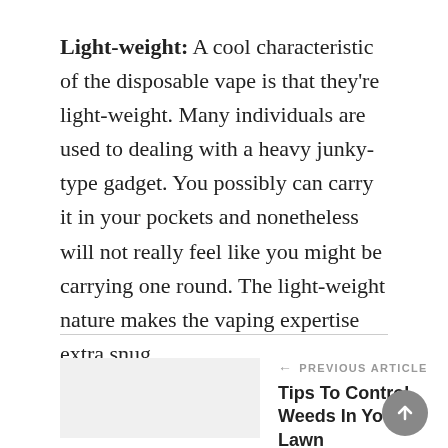Light-weight: A cool characteristic of the disposable vape is that they're light-weight. Many individuals are used to dealing with a heavy junky-type gadget. You possibly can carry it in your pockets and nonetheless will not really feel like you might be carrying one round. The light-weight nature makes the vaping expertise extra snug.
← PREVIOUS ARTICLE
Tips To Control Weeds In Your Lawn